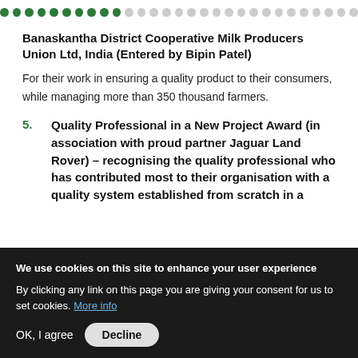[Figure (other): Progress indicator dots bar — 10 filled green dots followed by approximately 20 grey empty dots]
Banaskantha District Cooperative Milk Producers Union Ltd, India (Entered by Bipin Patel)
For their work in ensuring a quality product to their consumers, while managing more than 350 thousand farmers.
5. Quality Professional in a New Project Award (in association with proud partner Jaguar Land Rover) – recognising the quality professional who has contributed most to their organisation with a quality system established from scratch in a project environment.
We use cookies on this site to enhance your user experience
By clicking any link on this page you are giving your consent for us to set cookies. More info
OK, I agree  Decline